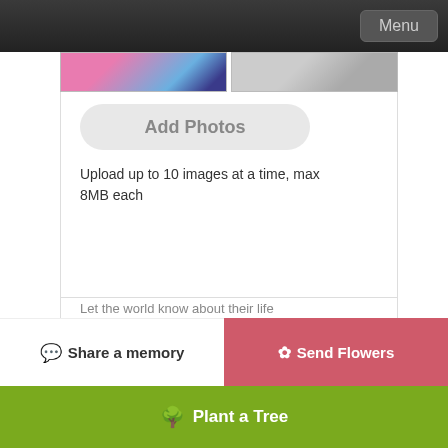Menu
[Figure (photo): Photo thumbnails — colored and grayscale portrait photos partially visible at top]
Add Photos
Upload up to 10 images at a time, max 8MB each
Family Login
Subscribe to Updates
Share a memory
Send Flowers
Plant a Tree